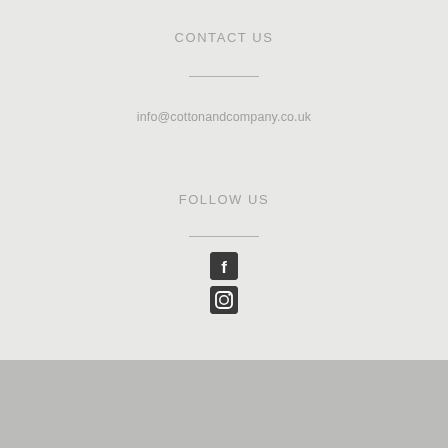CONTACT US
info@cottonandcompany.co.uk
FOLLOW US
[Figure (illustration): Facebook icon (dark square with white F) and Instagram icon (dark square with camera symbol), stacked vertically]
Theme by Out the Box